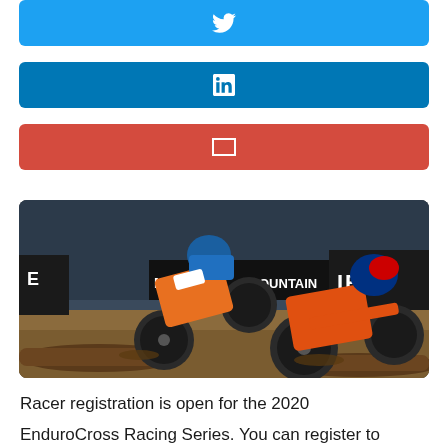[Figure (other): Twitter share button (blue background with white Twitter bird icon)]
[Figure (other): LinkedIn share button (dark blue background with white LinkedIn 'in' icon)]
[Figure (other): Email share button (red background with white envelope icon)]
[Figure (photo): Two motocross riders on dirt bikes competing in an indoor EnduroCross event, navigating over logs. Banners visible in background with 'MAXXIS' and 'IRC' branding. Riders wearing orange/blue and orange/black gear.]
Racer registration is open for the 2020 EnduroCross Racing Series. You can register to